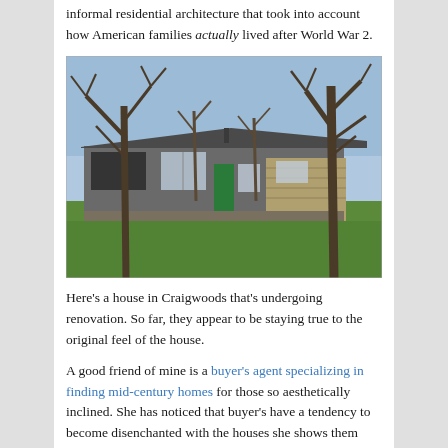informal residential architecture that took into account how American families actually lived after World War 2.
[Figure (photo): Photograph of a mid-century modern ranch house in Craigwoods undergoing renovation. The low-profile house has a green front door, large windows, stone and board exterior, a gentle sloped roof, bare winter trees in the background, and a grassy front yard.]
Here's a house in Craigwoods that's undergoing renovation. So far, they appear to be staying true to the original feel of the house.
A good friend of mine is a buyer's agent specializing in finding mid-century homes for those so aesthetically inclined. She has noticed that buyer's have a tendency to become disenchanted with the houses she shows them